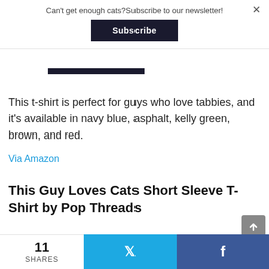Can't get enough cats?Subscribe to our newsletter!
Subscribe
[Figure (other): Dark bar artifact from partially visible t-shirt product image]
This t-shirt is perfect for guys who love tabbies, and it's available in navy blue, asphalt, kelly green, brown, and red.
Via Amazon
This Guy Loves Cats Short Sleeve T-Shirt by Pop Threads
11 SHARES